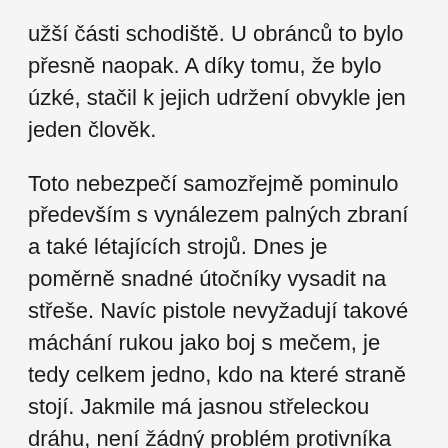užší části schodiště. U obránců to bylo přesně naopak. A díky tomu, že bylo úzké, stačil k jejich udržení obvykle jen jeden člověk.
Toto nebezpečí samozřejmě pominulo především s vynálezem palných zbraní a také létajících strojů. Dnes je poměrně snadné útočníky vysadit na střeše. Navíc pistole nevyžadují takové máchání rukou jako boj s mečem, je tedy celkem jedno, kdo na které straně stojí. Jakmile má jasnou střeleckou dráhu, není žádný problém protivníka zneškodnit.
Ovšem druhá výhoda, kterou tento typ schodiště má, přetrvala až dodnes a je vlastně hlavním důvodem, proč se dosud staví. Tou je úspora místa. Tento typ totiž můžeme postavit i na relativně malém prostoru. To také znamená, že je kompaktnější a nepodlehne tak snadno například větru. Proto se používá u staveb, které vyžadují venkovní přístup, například